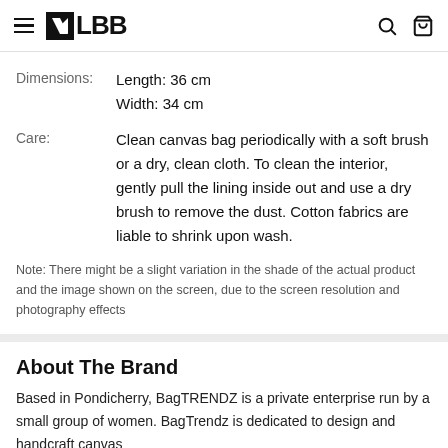LBB
Dimensions: Length: 36 cm
Width: 34 cm
Care: Clean canvas bag periodically with a soft brush or a dry, clean cloth. To clean the interior, gently pull the lining inside out and use a dry brush to remove the dust. Cotton fabrics are liable to shrink upon wash.
Note: There might be a slight variation in the shade of the actual product and the image shown on the screen, due to the screen resolution and photography effects
About The Brand
Based in Pondicherry, BagTRENDZ is a private enterprise run by a small group of women. BagTrendz is dedicated to design and handcraft canvas